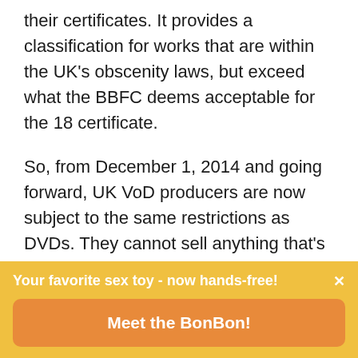their certificates. It provides a classification for works that are within the UK's obscenity laws, but exceed what the BBFC deems acceptable for the 18 certificate.
So, from December 1, 2014 and going forward, UK VoD producers are now subject to the same restrictions as DVDs. They cannot sell anything that's prohibited under the R18 certificate as it is no longer legal. The Internet was considered the last bastion of creative freedom of expression by many UK adult filmmakers. It was the one space where they could
Your favorite sex toy - now hands-free!
Meet the BonBon!